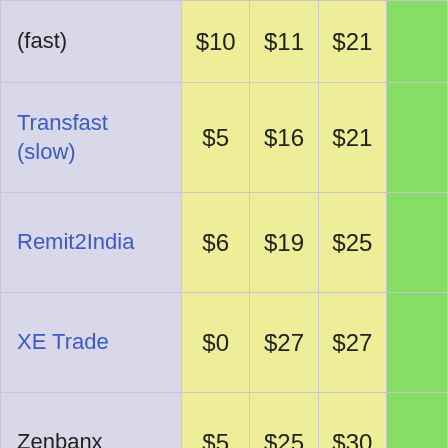| Provider | Fee | Exchange Loss | Total Cost | Total (with bonus) |
| --- | --- | --- | --- | --- |
| (fast) | $10 | $11 | $21 |  |
| Transfast (slow) | $5 | $16 | $21 |  |
| Remit2India | $6 | $19 | $25 |  |
| XE Trade | $0 | $27 | $27 |  |
| Zenbanx | $5 | $25 | $30 |  |
|  |  |  |  |  |